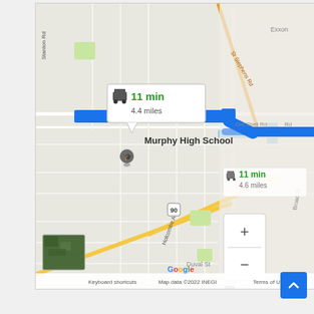[Figure (map): Google Maps screenshot showing driving directions near Murphy High School in Mobile, AL. A blue route is highlighted. A callout shows '11 min / 4.4 miles' with a car icon. Another route option on the right shows '11 min / 4.6 miles'. Map includes street labels: Stanton Rd, St Stephens Rd, Holcombe Ave, Duval St, Old Shell Rd, US-90. A school marker is shown at Murphy High School. Bottom bar shows 'Keyboard shortcuts', 'Map data ©2022 INEGI', 'Terms of Use'. Zoom controls (+/-) are visible at bottom right of map. A small satellite thumbnail is in the lower left. Google logo appears at bottom center.]